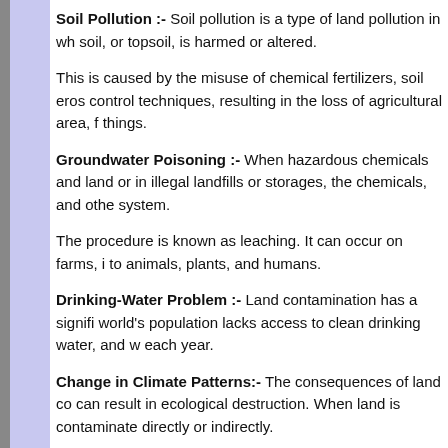Soil Pollution :- Soil pollution is a type of land pollution in which the soil, or topsoil, is harmed or altered.
This is caused by the misuse of chemical fertilizers, soil erosion control techniques, resulting in the loss of agricultural area, for living things.
Groundwater Poisoning :- When hazardous chemicals and land or in illegal landfills or storages, the chemicals, and other system.
The procedure is known as leaching. It can occur on farms, it to animals, plants, and humans.
Drinking-Water Problem :- Land contamination has a significant world's population lacks access to clean drinking water, and each year.
Change in Climate Patterns:- The consequences of land contamination can result in ecological destruction. When land is contaminated directly or indirectly.
Environmental Impact:- The tree cover is harmed when deforestation